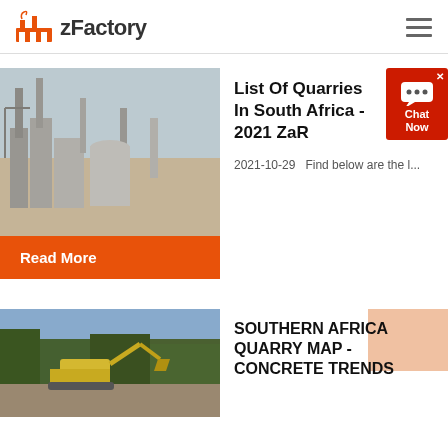zFactory
[Figure (photo): Industrial cement factory with tall chimneys and silos in a dusty desert landscape]
List Of Quarries In South Africa - 2021 ZaR
2021-10-29   Find below are the l...
Read More
[Figure (photo): Excavator working in an open quarry surrounded by trees]
SOUTHERN AFRICA QUARRY MAP - Concrete Trends